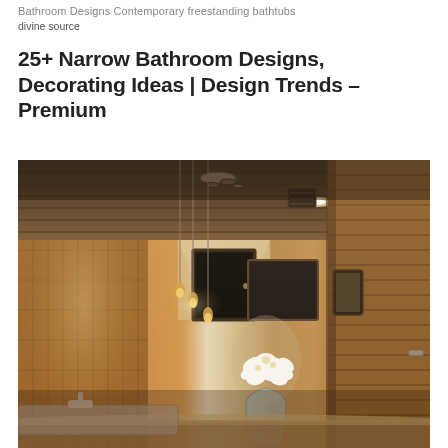Bathroom Designs Contemporary freestanding bathtubs divine source
25+ Narrow Bathroom Designs, Decorating Ideas | Design Trends – Premium
[Figure (photo): Interior photo of a narrow contemporary bathroom with warm wood-paneled walls and ceiling, pendant lights hanging from the ceiling, a vase of white flowers on the counter, a mirror, and recessed lighting. The bathroom has a long narrow corridor-like layout with tile walls on the left and horizontal wood planks on the right wall.]